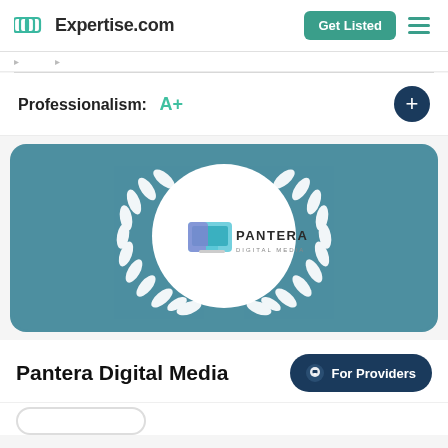Expertise.com
Professionalism: A+
[Figure (logo): Pantera Digital Media award badge on teal background with white laurel wreath surrounding a circular logo. The logo shows 'PANTERA DIGITAL MEDIA' text with a stylized monitor icon.]
Pantera Digital Media
For Providers